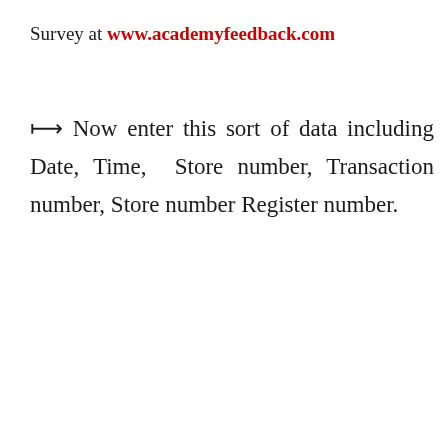Survey at www.academyfeedback.com
↦ Now enter this sort of data including Date, Time, Store number, Transaction number, Store number Register number.